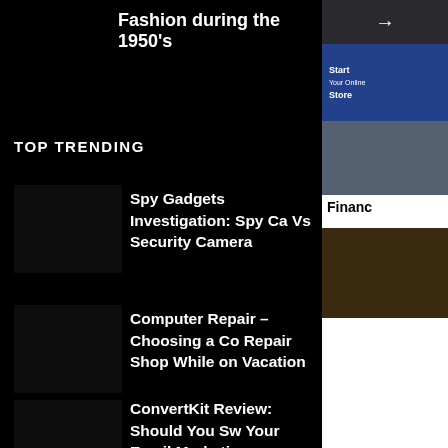Fashion during the 1950's
TOP TRENDING
Spy Gadgets Investigation: Spy Ca Vs Security Camera
Computer Repair – Choosing a Co Repair Shop While on Vacation
ConvertKit Review: Should You Sw Your Email Marketing Software?
[Figure (screenshot): Side panel with arrow navigation, ad block for Start Your Online Store, image of bridge (Finance article thumbnail), and sunset image thumbnail]
Financ